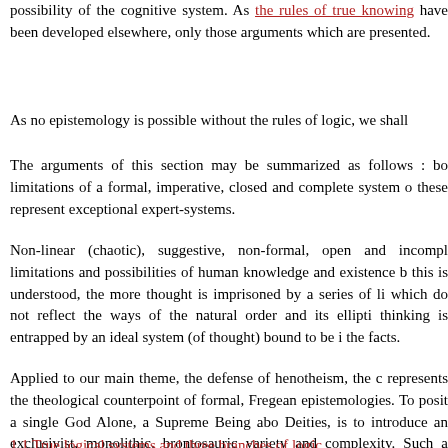possibility of the cognitive system. As the rules of  true knowing have been developed elsewhere, only those arguments which are presented.
As no epistemology is possible without the rules of logic, we shall
The arguments of this section may be summarized as follows : bo limitations of a formal, imperative, closed and complete system o these represent exceptional expert-systems.
Non-linear (chaotic), suggestive, non-formal, open and incompl limitations and possibilities of human knowledge and existence b this is understood, the more thought is imprisoned by a series of li which do not reflect the ways of the natural order and its ellipti thinking is entrapped by an ideal system (of thought) bound to be i the facts.
Applied to our main theme, the defense of henotheism, the c represents the theological counterpoint of formal, Fregean epistemologies. To posit a single God Alone, a Supreme Being abo Deities, is to introduce an exclusivist, monolithic, brontosauric variety and complexity. Such a model of God favors the eliminatio will receive the right to develop a conflictual ethical system ("we of the religious attitude, to wit : universal peace profound.
1.1 True logical systems and three branches of logic